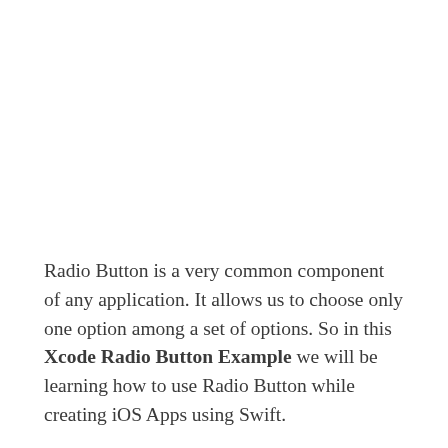Radio Button is a very common component of any application. It allows us to choose only one option among a set of options. So in this Xcode Radio Button Example we will be learning how to use Radio Button while creating iOS Apps using Swift.